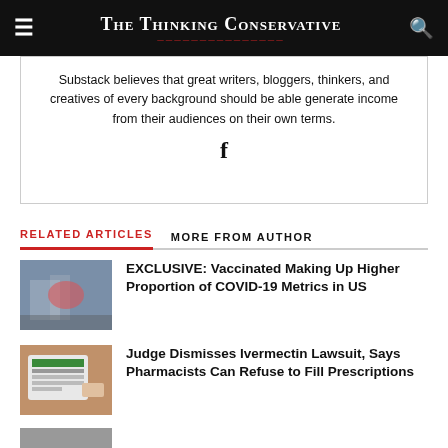The Thinking Conservative
Substack believes that great writers, bloggers, thinkers, and creatives of every background should be able generate income from their audiences on their own terms.
RELATED ARTICLES   MORE FROM AUTHOR
EXCLUSIVE: Vaccinated Making Up Higher Proportion of COVID-19 Metrics in US
Judge Dismisses Ivermectin Lawsuit, Says Pharmacists Can Refuse to Fill Prescriptions